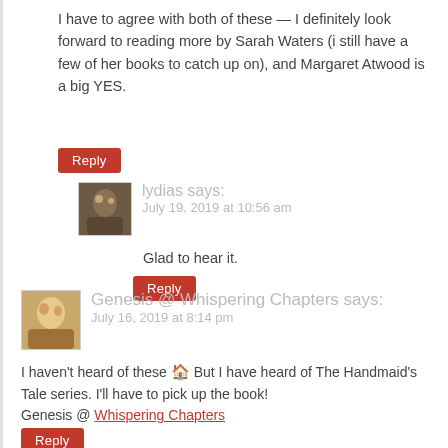I have to agree with both of these — I definitely look forward to reading more by Sarah Waters (i still have a few of her books to catch up on), and Margaret Atwood is a big YES.
Reply
lydias says: July 19, 2019 at 10:56 am
Glad to hear it.
Reply
Genesis @ Whispering Chapters says: July 16, 2019 at 8:14 pm
I haven't heard of these 🏠 But I have heard of The Handmaid's Tale series. I'll have to pick up the book! Genesis @ Whispering Chapters
Reply